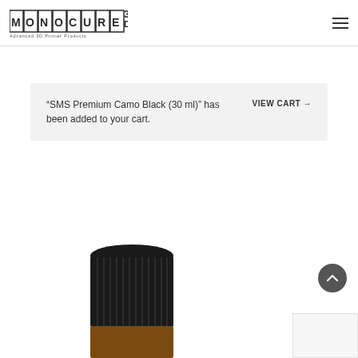[Figure (logo): Monocure 3D logo — Advanced 3D Printer Products]
“SMS Premium Camo Black (30 ml)” has been added to your cart.
VIEW CART →
[Figure (photo): Black bottle cap / lid of a 30ml product container, partially visible at bottom of page]
[Figure (other): Partial white/light grey panel visible at bottom right corner]